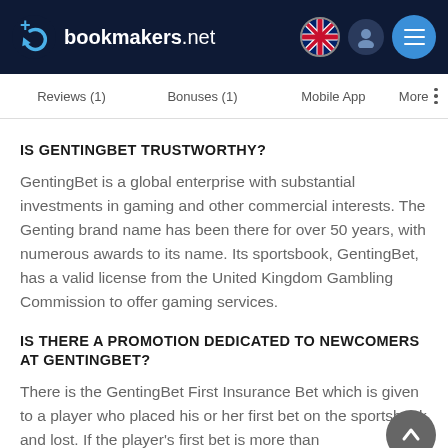bookmakers.net
Reviews (1)   Bonuses (1)   Mobile App   More
IS GENTINGBET TRUSTWORTHY?
GentingBet is a global enterprise with substantial investments in gaming and other commercial interests. The Genting brand name has been there for over 50 years, with numerous awards to its name. Its sportsbook, GentingBet, has a valid license from the United Kingdom Gambling Commission to offer gaming services.
IS THERE A PROMOTION DEDICATED TO NEWCOMERS AT GENTINGBET?
There is the GentingBet First Insurance Bet which is given to a player who placed his or her first bet on the sportsbook and lost. If the player's first bet is more than